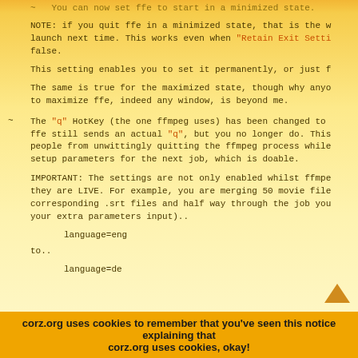~ You can now set ffe to start in a minimized state.
NOTE: if you quit ffe in a minimized state, that is the w launch next time. This works even when "Retain Exit Setti false.
This setting enables you to set it permanently, or just f
The same is true for the maximized state, though why anyo to maximize ffe, indeed any window, is beyond me.
~ The "q" HotKey (the one ffmpeg uses) has been changed to ffe still sends an actual "q", but you no longer do. This people from unwittingly quitting the ffmpeg process while setup parameters for the next job, which is doable.
IMPORTANT: The settings are not only enabled whilst ffmpe they are LIVE. For example, you are merging 50 movie file corresponding .srt files and half way through the job you your extra parameters input)..
language=eng
to..
language=de
corz.org uses cookies to remember that you've seen this notice explaining that corz.org uses cookies, okay!